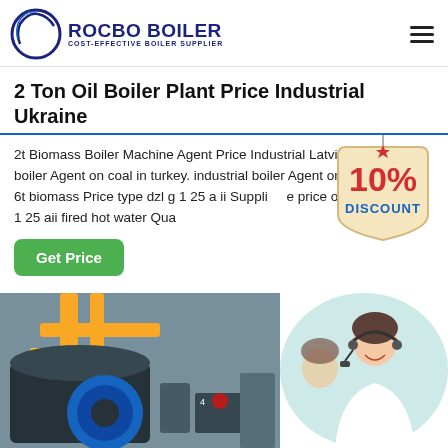ROCBO BOILER — COST-EFFECTIVE BOILER SUPPLIER
2 Ton Oil Boiler Plant Price Industrial Ukraine
2t Biomass Boiler Machine Agent Price Industrial Latvia. industrial boiler Agent on coal in turkey. industrial boiler Agent on coal in turkey. 6t biomass Price type dzl g 1 25 a ii Supplier price of yuanda szl10 1 25 aii fired hot water Qua
[Figure (illustration): 10% DISCOUNT badge/sticker in red and tan colors]
[Figure (photo): Industrial boiler plant interior with yellow pipes and blue machinery, and a customer service agent with headset]
Get Price